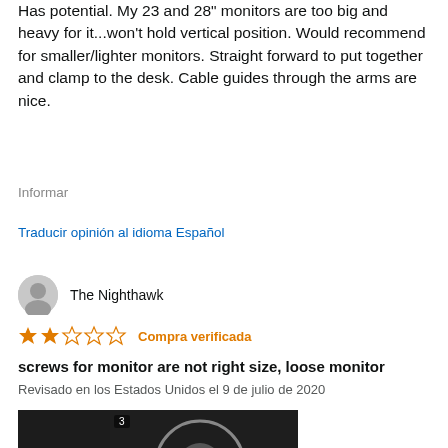Has potential. My 23 and 28" monitors are too big and heavy for it...won't hold vertical position. Would recommend for smaller/lighter monitors. Straight forward to put together and clamp to the desk. Cable guides through the arms are nice.
Informar
Traducir opinión al idioma Español
The Nighthawk
2 stars — Compra verificada
screws for monitor are not right size, loose monitor
Revisado en los Estados Unidos el 9 de julio de 2020
[Figure (photo): Video thumbnail showing a close-up of a monitor mount screw/ball joint, dark background, with play button and video indicators.]